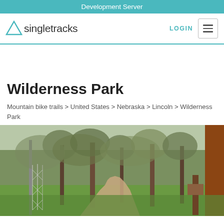Development Server
[Figure (logo): Singletracks logo with triangle icon and wordmark]
LOGIN
Wilderness Park
Mountain bike trails > United States > Nebraska > Lincoln > Wilderness Park
[Figure (photo): Outdoor trail photo showing a dirt path through a wooded park area with green undergrowth, trees, and a wooden post/sign on the right. Chain link fence along the trail.]